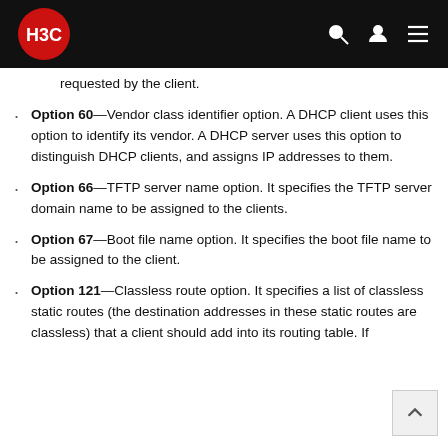H3C
requested by the client.
Option 60—Vendor class identifier option. A DHCP client uses this option to identify its vendor. A DHCP server uses this option to distinguish DHCP clients, and assigns IP addresses to them.
Option 66—TFTP server name option. It specifies the TFTP server domain name to be assigned to the clients.
Option 67—Boot file name option. It specifies the boot file name to be assigned to the client.
Option 121—Classless route option. It specifies a list of classless static routes (the destination addresses in these static routes are classless) that a client should add into its routing table. If